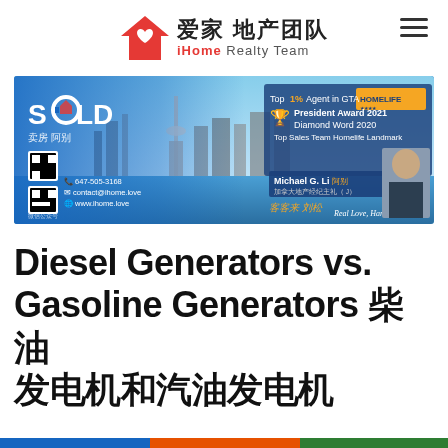爱家 地产团队 iHome Realty Team
[Figure (photo): Real estate banner showing Toronto skyline with SOLD overlay, agent Michael G. Li info, QR codes, contact details, and awards text: Top 1% Agent in GTA, President Award 2021, Diamond Word 2020, Top Sales Team Homelife Landmark]
Diesel Generators vs. Gasoline Generators 柴油发电机和汽油发电机的比较